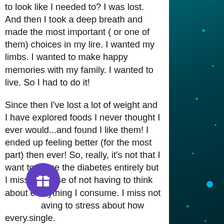to look like I needed to? I was lost. And then I took a deep breath and made the most important ( or one of them) choices in my lire. I wanted my limbs. I wanted to make happy memories with my family. I wanted to live. So I had to do it!
Since then I've lost a lot of weight and I have explored foods I never thought I ever would...and found I like them! I ended up feeling better (for the most part) then ever! So, really, it's not that I want to erase the diabetes entirely but I miss the ease of not having to think about everything I consume. I miss not having to stress about how every.single.thing effects my sugars. I miss eating some of my favorite foods like potatoes